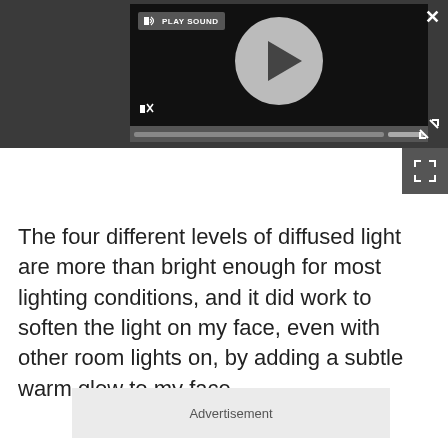[Figure (screenshot): A video/audio player screenshot with dark background showing a circular play button in the center, a 'PLAY SOUND' label with speaker icon at top left, a mute icon at bottom left, and a progress bar at the bottom. A close (X) button appears at top right, expand/fullscreen arrows appear at right side. A fullscreen icon box is below the player on the right.]
The four different levels of diffused light are more than bright enough for most lighting conditions, and it did work to soften the light on my face, even with other room lights on, by adding a subtle warm glow to my face.
Advertisement